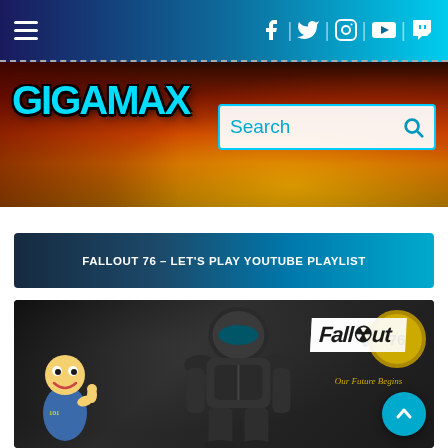Navigation bar with hamburger menu and social icons: Facebook, Twitter, Instagram, YouTube, Twitch
[Figure (logo): GIGAMAX logo in cyan graffiti-style text on a dark red/orange game screenshot banner background, with a Search box]
FALLOUT 76 – LET'S PLAY YOUTUBE PLAYLIST
[Figure (screenshot): Fallout 76 game art showing Vault Boy and Power Armor against dark background with Fallout 76 logo and tagline 'Our Future Begins']